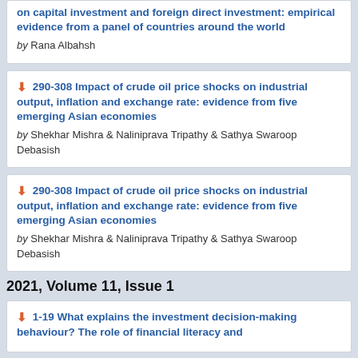on capital investment and foreign direct investment: empirical evidence from a panel of countries around the world
by Rana Albahsh
290-308 Impact of crude oil price shocks on industrial output, inflation and exchange rate: evidence from five emerging Asian economies
by Shekhar Mishra & Naliniprava Tripathy & Sathya Swaroop Debasish
290-308 Impact of crude oil price shocks on industrial output, inflation and exchange rate: evidence from five emerging Asian economies
by Shekhar Mishra & Naliniprava Tripathy & Sathya Swaroop Debasish
2021, Volume 11, Issue 1
1-19 What explains the investment decision-making behaviour? The role of financial literacy and